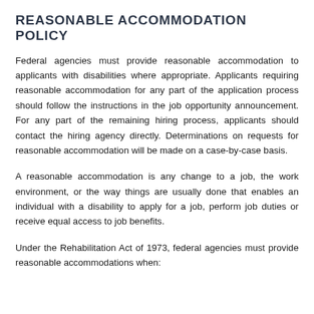REASONABLE ACCOMMODATION POLICY
Federal agencies must provide reasonable accommodation to applicants with disabilities where appropriate. Applicants requiring reasonable accommodation for any part of the application process should follow the instructions in the job opportunity announcement. For any part of the remaining hiring process, applicants should contact the hiring agency directly. Determinations on requests for reasonable accommodation will be made on a case-by-case basis.
A reasonable accommodation is any change to a job, the work environment, or the way things are usually done that enables an individual with a disability to apply for a job, perform job duties or receive equal access to job benefits.
Under the Rehabilitation Act of 1973, federal agencies must provide reasonable accommodations when: